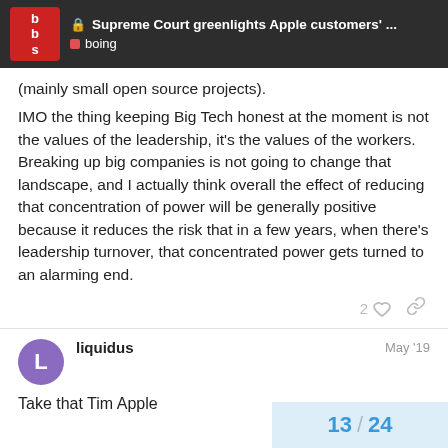Supreme Court greenlights Apple customers'… | boing
(mainly small open source projects).
IMO the thing keeping Big Tech honest at the moment is not the values of the leadership, it's the values of the workers. Breaking up big companies is not going to change that landscape, and I actually think overall the effect of reducing that concentration of power will be generally positive because it reduces the risk that in a few years, when there's leadership turnover, that concentrated power gets turned to an alarming end.
2 ♡ 🔗
liquidus  May '19
Take that Tim Apple
13 / 24